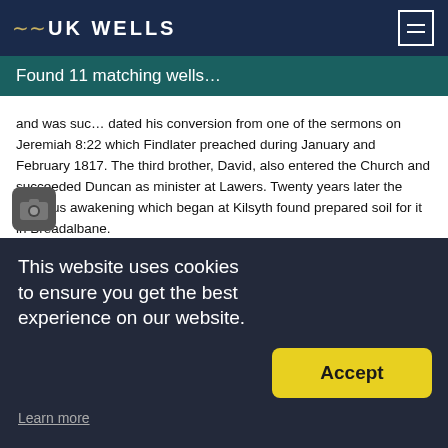UK WELLS
Found 11 matching wells…
and was suc… dated his conversion from one of the sermons on Jeremiah 8:22 which Findlater preached during January and February 1817. The third brother, David, also entered the Church and succeeded Duncan as minister at Lawers. Twenty years later the religious awakening which began at Kilsyth found prepared soil for it in Breadalbane.
(Memoir of Findlater, 1840, this volume is the chief source for the facts of the Breadalbane Revival. Unfortunately, its author had not the faculty of orderly narrative. The book is consequently a strange welter of dates and repetitions.)
This account is taken from "Scotland Saw His Glory," by Richard Owen Roberts. He has taken the account directly from a book from around 1900, but I am not sure which one. The Findlater book is not easy to get hold of. The copy in the British Library had never been looked at, it fell apart when I started reading it. There does not seem to be a version on the web – yet.
This website uses cookies to ensure you get the best experience on our website.
Learn more
Accept